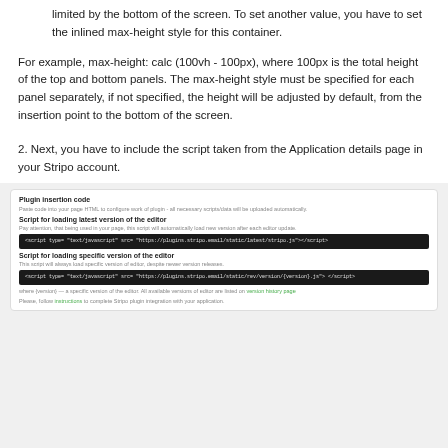limited by the bottom of the screen. To set another value, you have to set the inlined max-height style for this container.
For example, max-height: calc (100vh - 100px), where 100px is the total height of the top and bottom panels. The max-height style must be specified for each panel separately, if not specified, the height will be adjusted by default, from the insertion point to the bottom of the screen.
2. Next, you have to include the script taken from the Application details page in your Stripo account.
[Figure (screenshot): Screenshot of the Plugin insertion code dialog showing two code blocks: one for loading the latest version of the editor and one for loading a specific version, with code snippets and footer notes about version history page and instructions.]